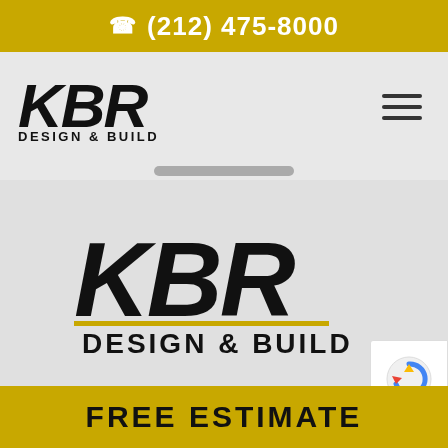(212) 475-8000
[Figure (logo): KBR Design & Build logo small version in header, with hamburger menu icon on right]
[Figure (logo): KBR Design & Build large logo centered in main content area]
[Figure (other): reCAPTCHA badge with Privacy and Terms links]
FREE ESTIMATE